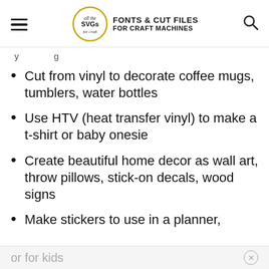all the SVGs FONTS & CUT FILES FOR CRAFT MACHINES
[partial text visible at top]
Cut from vinyl to decorate coffee mugs, tumblers, water bottles
Use HTV (heat transfer vinyl) to make a t-shirt or baby onesie
Create beautiful home decor as wall art, throw pillows, stick-on decals, wood signs
Make stickers to use in a planner,
or for kids